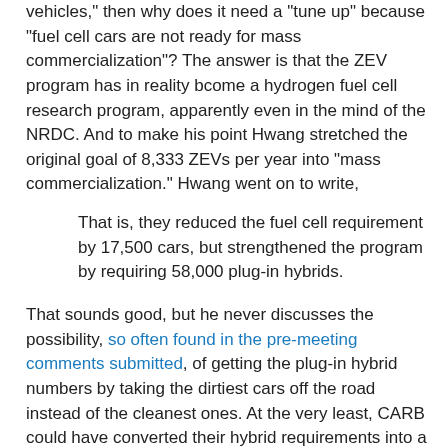vehicles," then why does it need a "tune up" because "fuel cell cars are not ready for mass commercialization"? The answer is that the ZEV program has in reality bcome a hydrogen fuel cell research program, apparently even in the mind of the NRDC. And to make his point Hwang stretched the original goal of 8,333 ZEVs per year into "mass commercialization." Hwang went on to write,
That is, they reduced the fuel cell requirement by 17,500 cars, but strengthened the program by requiring 58,000 plug-in hybrids.
That sounds good, but he never discusses the possibility, so often found in the pre-meeting comments submitted, of getting the plug-in hybrid numbers by taking the dirtiest cars off the road instead of the cleanest ones. At the very least, CARB could have converted their hybrid requirements into a plug-in hybrid requirement, instead of taking from the small ZEV numbers.
Hwang also never considers whether CARB is leading or